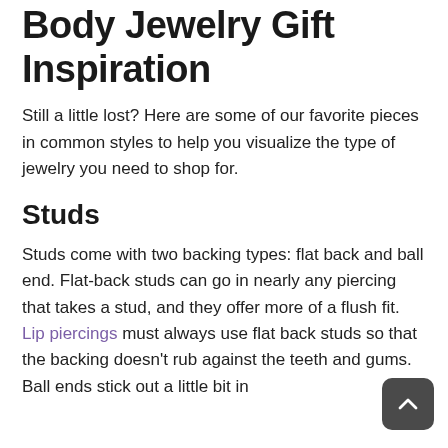Body Jewelry Gift Inspiration
Still a little lost? Here are some of our favorite pieces in common styles to help you visualize the type of jewelry you need to shop for.
Studs
Studs come with two backing types: flat back and ball end. Flat-back studs can go in nearly any piercing that takes a stud, and they offer more of a flush fit. Lip piercings must always use flat back studs so that the backing doesn't rub against the teeth and gums. Ball ends stick out a little bit in